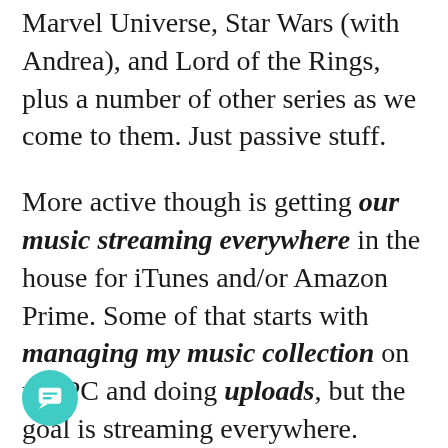Marvel Universe, Star Wars (with Andrea), and Lord of the Rings, plus a number of other series as we come to them. Just passive stuff.
More active though is getting our music streaming everywhere in the house for iTunes and/or Amazon Prime. Some of that starts with managing my music collection on my PC and doing uploads, but the goal is streaming everywhere.